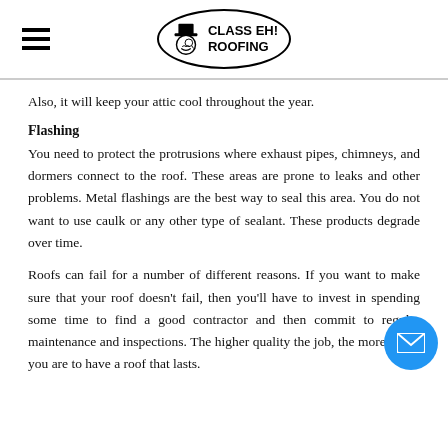CLASS EH! ROOFING
Also, it will keep your attic cool throughout the year.
Flashing
You need to protect the protrusions where exhaust pipes, chimneys, and dormers connect to the roof. These areas are prone to leaks and other problems. Metal flashings are the best way to seal this area. You do not want to use caulk or any other type of sealant. These products degrade over time.
Roofs can fail for a number of different reasons. If you want to make sure that your roof doesn't fail, then you'll have to invest in spending some time to find a good contractor and then commit to maintenance and inspections. The higher quality the job, the more likely you are to have a roof that lasts.